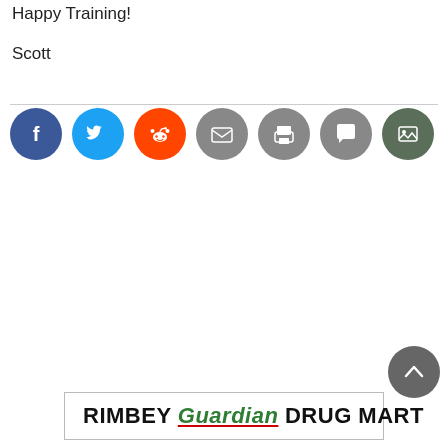Happy Training!
Scott
[Figure (other): Social sharing icon buttons row: Facebook (blue), Twitter (light blue), Reddit (orange), Email (grey), Print (grey), Comment (grey), Image (dark green)]
[Figure (logo): RIMBEY Guardian DRUG MART advertisement logo in a bordered box]